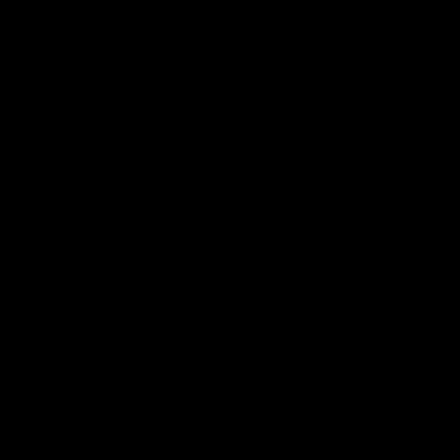[Figure (photo): Entirely black image, no visible content.]